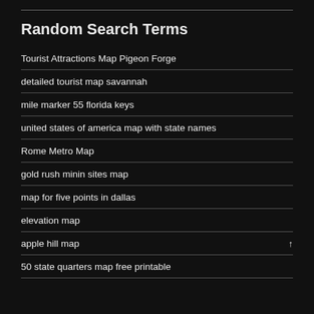Random Search Terms
Tourist Attractions Map Pigeon Forge
detailed tourist map savannah
mile marker 55 florida keys
united states of america map with state names
Rome Metro Map
gold rush minin sites map
map for five points in dallas
elevation map
apple hill map
50 state quarters map free printable